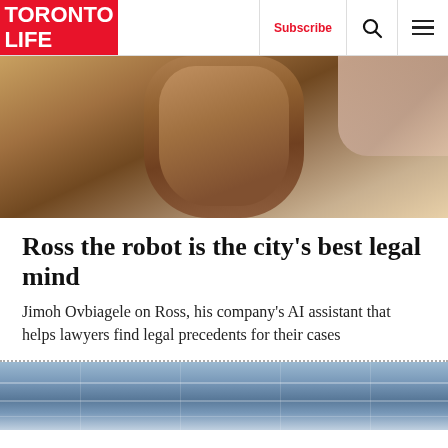TORONTO LIFE | Subscribe | [search] [menu]
[Figure (photo): Close-up photo of a man (Jimoh Ovbiagele) with his hand on his chin in a thoughtful pose, smiling slightly.]
Ross the robot is the city’s best legal mind
Jimoh Ovbiagele on Ross, his company’s AI assistant that helps lawyers find legal precedents for their cases
[Figure (photo): Photo of a modern building interior or transit station with glass and steel structure, blue-tinted.]